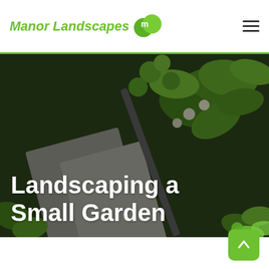Manor Landscapes
[Figure (photo): Close-up photo of garden plants with green leaves and paving stones, with garden tools visible. Dark/moody tone with green foliage.]
Landscaping a Small Garden